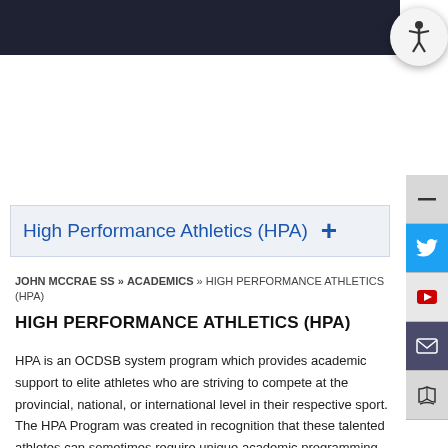High Performance Athletics (HPA)
JOHN MCCRAE SS » ACADEMICS » HIGH PERFORMANCE ATHLETICS (HPA)
HIGH PERFORMANCE ATHLETICS (HPA)
HPA is an OCDSB system program which provides academic support to elite athletes who are striving to compete at the provincial, national, or international level in their respective sport. The HPA Program was created in recognition that these talented athletes can sometimes require unique academic programming, accommodation, and flexibility so they are able to train while still receiving a high quality education.